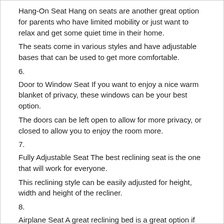Hang-On Seat Hang on seats are another great option for parents who have limited mobility or just want to relax and get some quiet time in their home.
The seats come in various styles and have adjustable bases that can be used to get more comfortable.
6.
Door to Window Seat If you want to enjoy a nice warm blanket of privacy, these windows can be your best option.
The doors can be left open to allow for more privacy, or closed to allow you to enjoy the room more.
7.
Fully Adjustable Seat The best reclining seat is the one that will work for everyone.
This reclining style can be easily adjusted for height, width and height of the recliner.
8.
Airplane Seat A great reclining bed is a great option if you want a place to sleep in your bedroom or even your living room, especially if you’re looking for something that can fit your needs.
These recliners have adjustable beds that are perfect for families who like extra room for the kids.